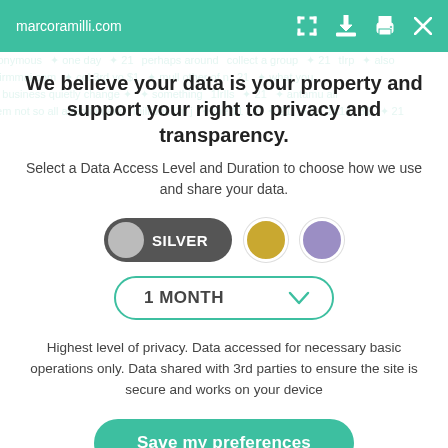marcoramilli.com
We believe your data is your property and support your right to privacy and transparency.
Select a Data Access Level and Duration to choose how we use and share your data.
[Figure (infographic): Silver, gold, and purple tier selector buttons. Silver toggle is currently selected (dark background with grey circle and SILVER label), gold circle and purple circle are unselected alternatives.]
[Figure (infographic): 1 MONTH dropdown selector with teal outline and chevron arrow.]
Highest level of privacy. Data accessed for necessary basic operations only. Data shared with 3rd parties to ensure the site is secure and works on your device
Save my preferences